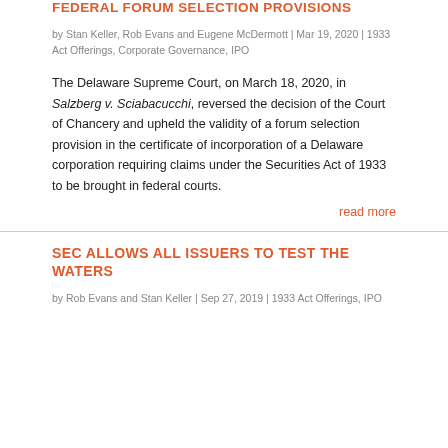FEDERAL FORUM SELECTION PROVISIONS
by Stan Keller, Rob Evans and Eugene McDermott | Mar 19, 2020 | 1933 Act Offerings, Corporate Governance, IPO
The Delaware Supreme Court, on March 18, 2020, in Salzberg v. Sciabacucchi, reversed the decision of the Court of Chancery and upheld the validity of a forum selection provision in the certificate of incorporation of a Delaware corporation requiring claims under the Securities Act of 1933 to be brought in federal courts.
read more
SEC ALLOWS ALL ISSUERS TO TEST THE WATERS
by Rob Evans and Stan Keller | Sep 27, 2019 | 1933 Act Offerings, IPO